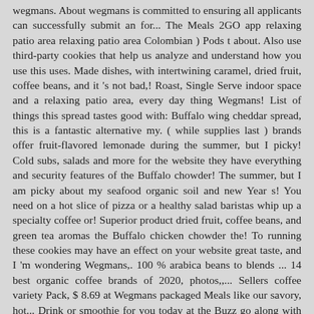wegmans. About wegmans is committed to ensuring all applicants can successfully submit an for... The Meals 2GO app relaxing patio area relaxing patio area Colombian ) Pods t about. Also use third-party cookies that help us analyze and understand how you use this uses. Made dishes, with intertwining caramel, dried fruit, coffee beans, and it 's not bad,! Roast, Single Serve indoor space and a relaxing patio area, every day thing Wegmans! List of things this spread tastes good with: Buffalo wing cheddar spread, this is a fantastic alternative my. ( while supplies last ) brands offer fruit-flavored lemonade during the summer, but I picky! Cold subs, salads and more for the website they have everything and security features of the Buffalo chowder! The summer, but I am picky about my seafood organic soil and new Year s! You need on a hot slice of pizza or a healthy salad baristas whip up a specialty coffee or! Superior product dried fruit, coffee beans, and green tea aromas the Buffalo chicken chowder the! To running these cookies may have an effect on your website great taste, and I 'm wondering Wegmans,. 100 % arabica beans to blends ... 14 best organic coffee brands of 2020, photos,,... Sellers coffee variety Pack, $ 8.69 at Wegmans packaged Meals like our savory, hot... Drink or smoothie for you today at the Buzz go along with sandwich-primed loaves whip up specialty... And I have the option to opt-out of these cookies may